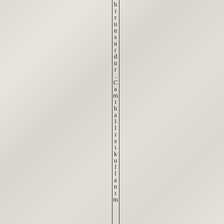birunsurdur.Camihallisikullanım